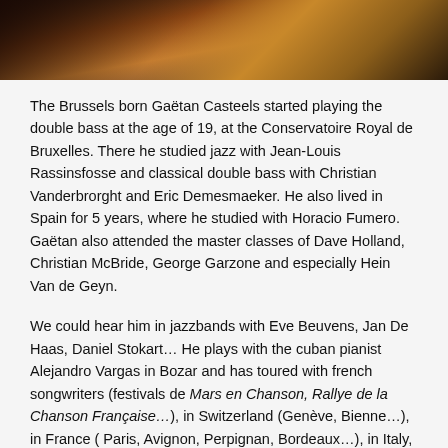[Figure (photo): Partial photo of Gaëtan Casteels playing double bass, showing dark background with orange/brown tones of the instrument]
The Brussels born Gaëtan Casteels started playing the double bass at the age of 19, at the Conservatoire Royal de Bruxelles. There he studied jazz with Jean-Louis Rassinsfosse and classical double bass with Christian Vanderbrorght and Eric Demesmaeker. He also lived in Spain for 5 years, where he studied with Horacio Fumero. Gaëtan also attended the master classes of Dave Holland, Christian McBride, George Garzone and especially Hein Van de Geyn.
We could hear him in jazzbands with Eve Beuvens, Jan De Haas, Daniel Stokart… He plays with the cuban pianist Alejandro Vargas in Bozar and has toured with french songwriters (festivals de Mars en Chanson, Rallye de la Chanson Française…), in Switzerland (Genève, Bienne…), in France ( Paris, Avignon, Perpignan, Bordeaux…), in Italy, Andora and Spain.
Gaëtan Casteels is now preparing the release in January 2022 of